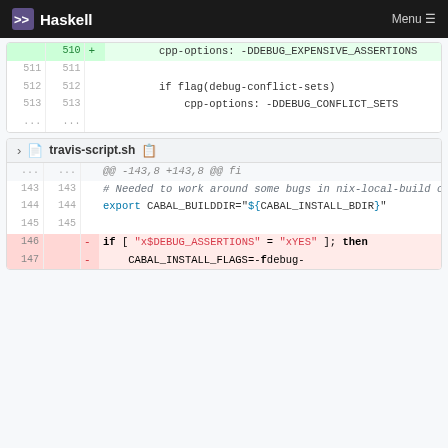Haskell  Menu
[Figure (screenshot): Code diff viewer showing changes to a Cabal/shell build script. First block shows lines 510-513 with addition of cpp-options: -DDEBUG_EXPENSIVE_ASSERTIONS and context lines for if flag(debug-conflict-sets) / cpp-options: -DDEBUG_CONFLICT_SETS. Second block is travis-script.sh diff showing lines 143-147 with comments, export CABAL_BUILDDIR, and deleted lines for DEBUG_ASSERTIONS if-check.]